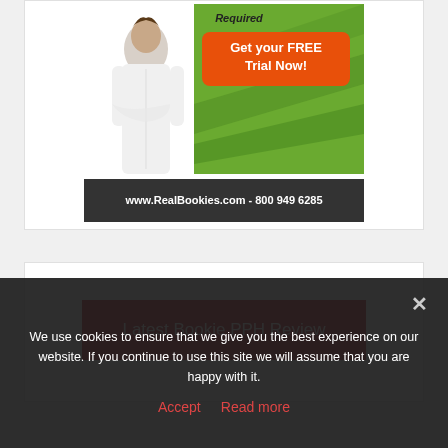[Figure (illustration): Advertisement banner for RealBookies.com showing a person in white shirt, green diagonal background with 'Get your FREE Trial Now!' orange button, and footer bar with 'www.RealBookies.com - 800 949 6285']
Latest Bookie PPH Review
We use cookies to ensure that we give you the best experience on our website. If you continue to use this site we will assume that you are happy with it.
Accept   Read more